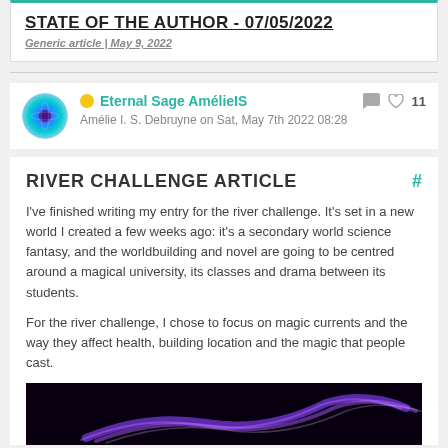STATE OF THE AUTHOR - 07/05/2022
Generic article | May 9, 2022
Eternal Sage AmélieIS
Amélie I. S. Debruyne on Sat, May 7th 2022 08:28
RIVER CHALLENGE ARTICLE
I've finished writing my entry for the river challenge. It's set in a new world I created a few weeks ago: it's a secondary world science fantasy, and the worldbuilding and novel are going to be centred around a magical university, its classes and drama between its students.
For the river challenge, I chose to focus on magic currents and the way they affect health, building location and the magic that people cast.
[Figure (photo): Dark background image with purple/violet light streaks resembling magic currents or energy waves]